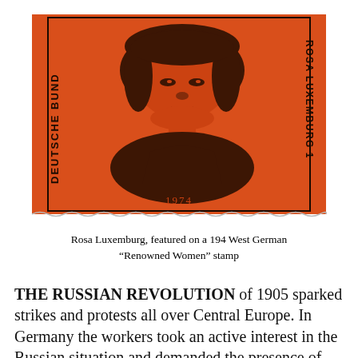[Figure (illustration): A postage stamp from West Germany (Deutsche Bundespost) featuring a portrait of Rosa Luxemburg on an orange/red background. The stamp has perforated edges. Text on stamp reads 'DEUTSCHE BUND' on the left side vertically, 'ROSA LUXEMBURG' on the right side vertically, and '1974' at the bottom. The portrait shows Rosa Luxemburg's face and upper body in dark ink on the orange background.]
Rosa Luxemburg, featured on a 194 West German "Renowned Women" stamp
THE RUSSIAN REVOLUTION of 1905 sparked strikes and protests all over Central Europe. In Germany the workers took an active interest in the Russian situation and demanded the presence of the SPD's (Social Democratic Party) inspiring speaker, Rosa Luxemburg. For Luxemburg, the upsurge in strikes symbolized the revolutionary spirit of the working class. She became increasingly disillusioned and frustrated, however, with the SPD's lack of